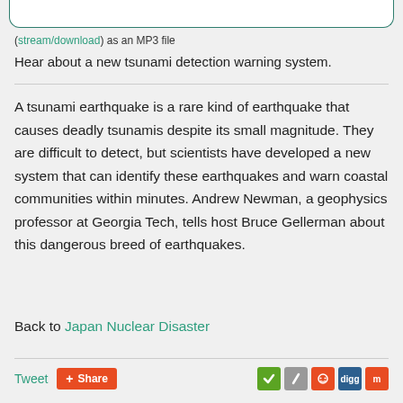(stream/download) as an MP3 file
Hear about a new tsunami detection warning system.
A tsunami earthquake is a rare kind of earthquake that causes deadly tsunamis despite its small magnitude. They are difficult to detect, but scientists have developed a new system that can identify these earthquakes and warn coastal communities within minutes. Andrew Newman, a geophysics professor at Georgia Tech, tells host Bruce Gellerman about this dangerous breed of earthquakes.
Back to Japan Nuclear Disaster
Tweet
+ Share
[Figure (other): Social media sharing icons: green checkmark, slash, Reddit alien, Digg, Mix]